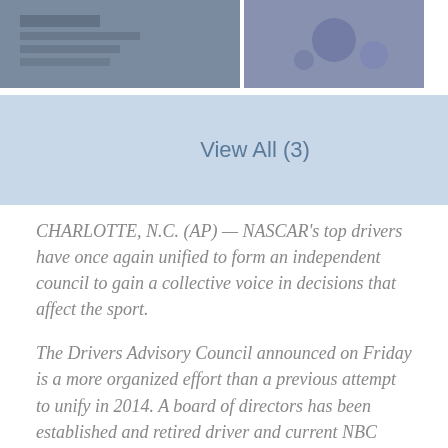[Figure (photo): Two photos side by side: left shows a dark indoor scene, right shows a sports/action scene]
[Figure (other): View All (3) button in light blue]
CHARLOTTE, N.C. (AP) — NASCAR's top drivers have once again unified to form an independent council to gain a collective voice in decisions that affect the sport.
The Drivers Advisory Council announced on Friday is a more organized effort than a previous attempt to unify in 2014. A board of directors has been established and retired driver and current NBC Sports analyst Jeff Burton agreed to oversee the effort.
The board is comprised of seven members that represent teams from the front and back of the Cup Series starting grid. Each board member will serve as a liaison, meeting formally once of drivers...